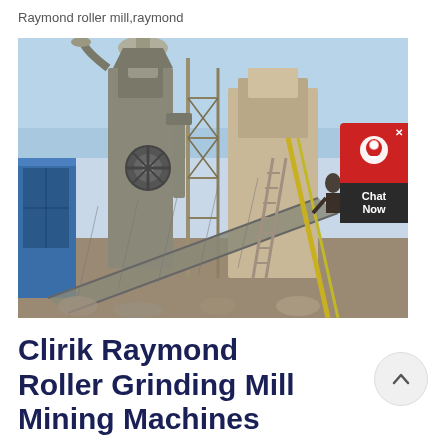Raymond roller mill,raymond
[Figure (photo): Industrial Raymond roller grinding mill machine at a mining or quarry site. Large machinery with a tall vertical processing unit, conveyor belts, scaffolding, and industrial equipment in an outdoor setting under a blue sky.]
Clirik Raymond Roller Grinding Mill Mining Machines